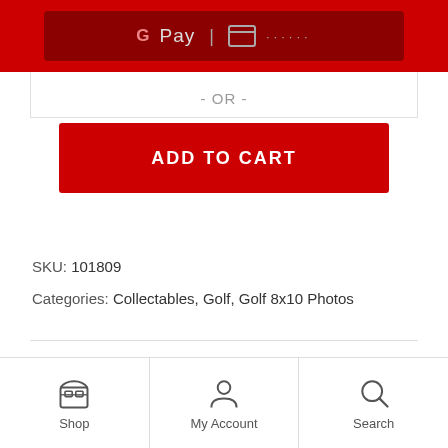[Figure (screenshot): Google Pay button with card icon and dots on dark red background within red banner]
- OR -
[Figure (screenshot): Red ADD TO CART button]
SKU: 101809
Categories: Collectables, Golf, Golf 8x10 Photos
DESCRIPTION
Shop  My Account  Search